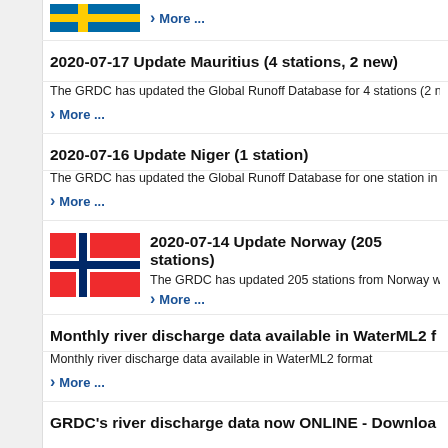[Figure (illustration): Swedish flag (partial, top of page) followed by a More... link]
More ...
2020-07-17 Update Mauritius (4 stations, 2 new)
The GRDC has updated the Global Runoff Database for 4 stations (2 new) i...
More ...
2020-07-16 Update Niger (1 station)
The GRDC has updated the Global Runoff Database for one station in Niger...
More ...
[Figure (illustration): Norwegian flag]
2020-07-14 Update Norway (205 stations)
The GRDC has updated 205 stations from Norway with daily...
More ...
Monthly river discharge data available in WaterML2 f...
Monthly river discharge data available in WaterML2 format
More ...
GRDC's river discharge data now ONLINE - Downloa...